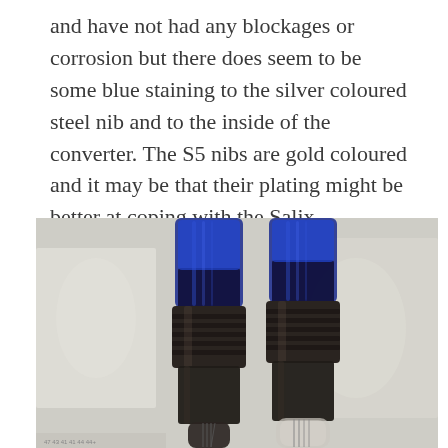and have not had any blockages or corrosion but there does seem to be some blue staining to the silver coloured steel nib and to the inside of the converter. The S5 nibs are gold coloured and it may be that their plating might be better at coping with the Salix.
[Figure (photo): Two fountain pen converters/sections shown upright side by side. Both have translucent blue barrels at the top filled with dark blue-black ink, and dark metal grip sections with ribbing. The left pen has a fine nib visible at the bottom, and the right pen also shows its nib section. Background is a blurred white lace curtain.]